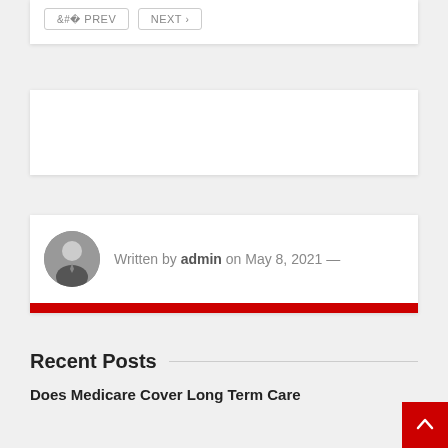< PREV  NEXT >
Written by admin on May 8, 2021 —
Recent Posts
Does Medicare Cover Long Term Care